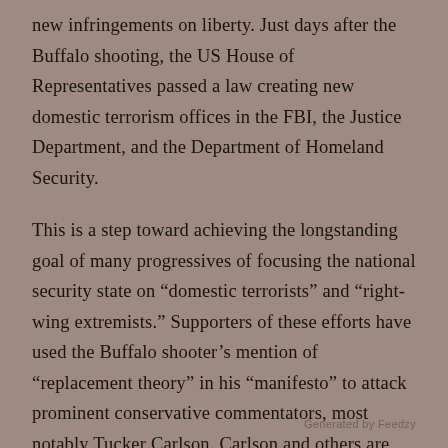new infringements on liberty. Just days after the Buffalo shooting, the US House of Representatives passed a law creating new domestic terrorism offices in the FBI, the Justice Department, and the Department of Homeland Security.
This is a step toward achieving the longstanding goal of many progressives of focusing the national security state on “domestic terrorists” and “right-wing extremists.” Supporters of these efforts have used the Buffalo shooter’s mention of “replacement theory” in his “manifesto” to attack prominent conservative commentators, most notably Tucker Carlson. Carlson and others are accused of spreading the replacement conspiracy theory because they have pointed out that the Left has for years celebrated the coming “replacement” of the white majority population. The goal is to stigmatize,